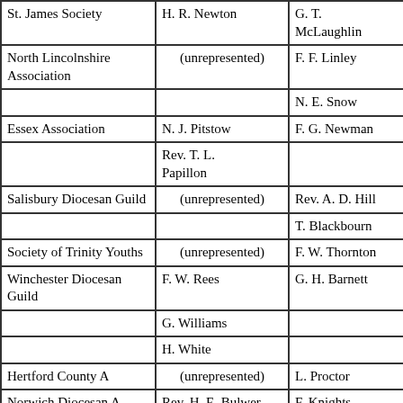| Organisation | Delegate | Substitute |
| --- | --- | --- |
| St. James Society | H. R. Newton | G. T. McLaughlin |
| North Lincolnshire Association | (unrepresented) | F. F. Linley |
|  |  | N. E. Snow |
| Essex Association | N. J. Pitstow | F. G. Newman |
|  | Rev. T. L. Papillon |  |
| Salisbury Diocesan Guild | (unrepresented) | Rev. A. D. Hill |
|  |  | T. Blackbourn |
| Society of Trinity Youths | (unrepresented) | F. W. Thornton |
| Winchester Diocesan Guild | F. W. Rees | G. H. Barnett |
|  | G. Williams |  |
|  | H. White |  |
| Hertford County A | (unrepresented) | L. Proctor |
| Norwich Diocesan A | Rev. H. E. Bulwer | F. Knights |
|  | W. L. Catchpole | F. O. Moule |
| Kent County A | E. E. Richards | Rev. T. S. Curteis |
|  |  | Rev. E. W. G... |